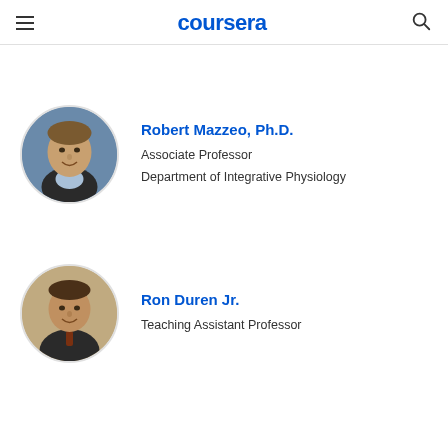coursera
[Figure (photo): Circular profile photo of Robert Mazzeo, Ph.D., a man in a dark suit with light blue shirt, smiling, against a blue background]
Robert Mazzeo, Ph.D.
Associate Professor
Department of Integrative Physiology
[Figure (photo): Circular profile photo of Ron Duren Jr., a man smiling]
Ron Duren Jr.
Teaching Assistant Professor